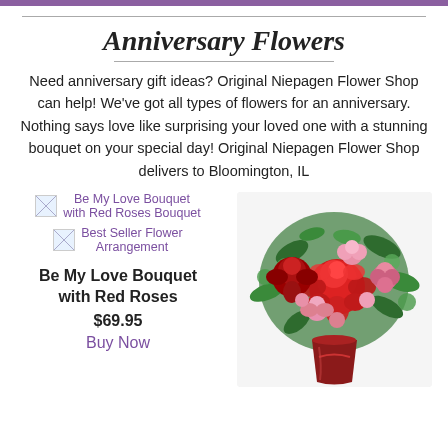Anniversary Flowers
Need anniversary gift ideas? Original Niepagen Flower Shop can help! We've got all types of flowers for an anniversary. Nothing says love like surprising your loved one with a stunning bouquet on your special day! Original Niepagen Flower Shop delivers to Bloomington, IL
[Figure (photo): Broken image placeholder for Be My Love Bouquet with Red Roses Bouquet]
[Figure (photo): Broken image placeholder for Best Seller Flower Arrangement]
Be My Love Bouquet with Red Roses
$69.95
Buy Now
[Figure (photo): Photo of a red rose and pink flower bouquet arrangement in a red vase with greenery]